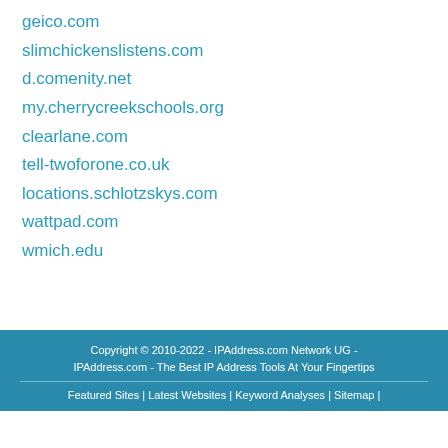geico.com
slimchickenslistens.com
d.comenity.net
my.cherrycreekschools.org
clearlane.com
tell-twoforone.co.uk
locations.schlotzskys.com
wattpad.com
wmich.edu
Copyright © 2010-2022 - IPAddress.com Network UG - IPAddress.com - The Best IP Address Tools At Your Fingertips
Featured Sites | Latest Websites | Keyword Analyses | Sitemap |